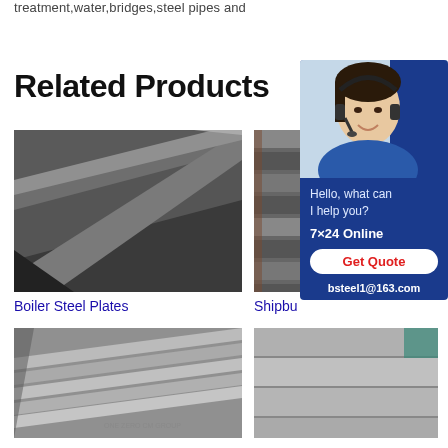treatment,water,bridges,steel pipes and
Related Products
[Figure (photo): Stack of dark metallic boiler steel plates, close-up view]
Boiler Steel Plates
[Figure (photo): Stacked shipbuilding steel plates, side angle view]
Shipbu...
[Figure (photo): Chat widget showing customer service representative with headset, Hello what can I help you?, 7x24 Online, Get Quote button, bsteel1@163.com]
[Figure (photo): Stacked steel plates from above, light grey]
[Figure (photo): Stacked steel plates from side, thick cut steel slabs]